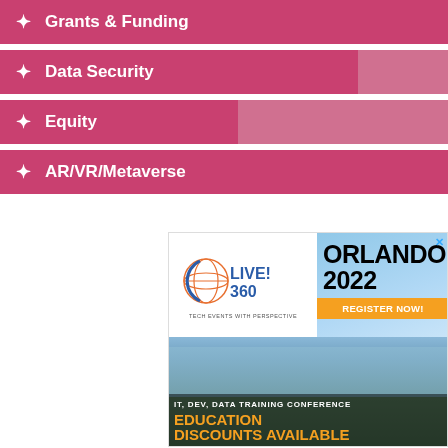Grants & Funding
Data Security
Equity
AR/VR/Metaverse
[Figure (infographic): Live! 360 Orlando 2022 conference advertisement. Shows Live! 360 logo with globe, 'ORLANDO 2022' text, 'REGISTER NOW!' orange button, 'IT, DEV, DATA TRAINING CONFERENCE' and 'EDUCATION DISCOUNTS AVAILABLE' over a hotel/resort background image.]